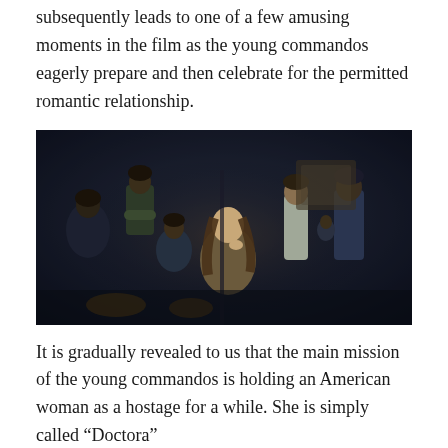subsequently leads to one of a few amusing moments in the film as the young commandos eagerly prepare and then celebrate for the permitted romantic relationship.
[Figure (photo): A dark, dimly lit room scene from a film showing several young people. A woman with long hair sits in the center with her hand near her mouth, surrounded by other individuals. In the background, more figures are visible in the shadows.]
It is gradually revealed to us that the main mission of the young commandos is holding an American woman as a hostage for a while. She is simply called “Doctora”